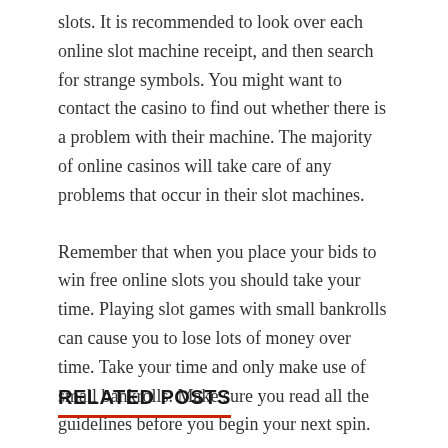slots. It is recommended to look over each online slot machine receipt, and then search for strange symbols. You might want to contact the casino to find out whether there is a problem with their machine. The majority of online casinos will take care of any problems that occur in their slot machines.
Remember that when you place your bids to win free online slots you should take your time. Playing slot games with small bankrolls can cause you to lose lots of money over time. Take your time and only make use of small bankrolls. Make sure you read all the guidelines before you begin your next spin.
RELATED POSTS